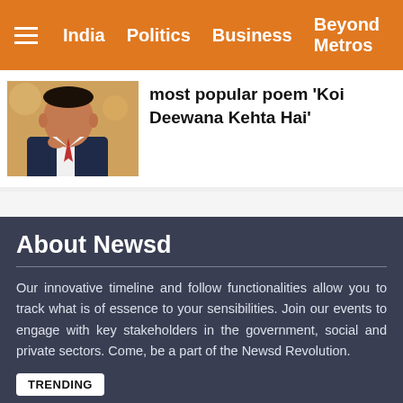India   Politics   Business   Beyond Metros
most popular poem ‘Koi Deewana Kehta Hai’
[Figure (photo): Portrait photo of a man in a suit with hand near chin, against an orange/yellow background]
About Newsd
Our innovative timeline and follow functionalities allow you to track what is of essence to your sensibilities. Join our events to engage with key stakeholders in the government, social and private sectors. Come, be a part of the Newsd Revolution.
TRENDING
IPL 2021: Lewis, Thomas replace Buttler, Stokes in Rajasthan Royals squad